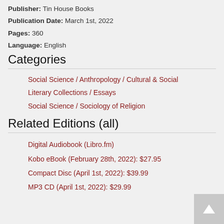Publisher: Tin House Books
Publication Date: March 1st, 2022
Pages: 360
Language: English
Categories
Social Science / Anthropology / Cultural & Social
Literary Collections / Essays
Social Science / Sociology of Religion
Related Editions (all)
Digital Audiobook (Libro.fm)
Kobo eBook (February 28th, 2022): $27.95
Compact Disc (April 1st, 2022): $39.99
MP3 CD (April 1st, 2022): $29.99